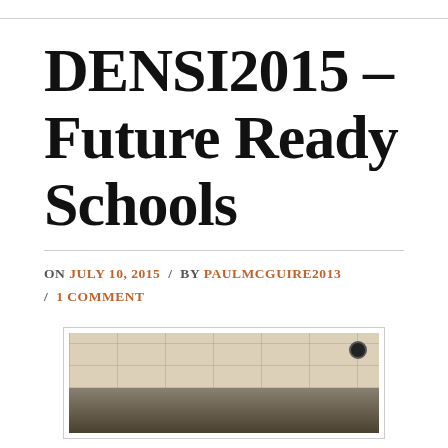DENSI2015 – Future Ready Schools
ON JULY 10, 2015 / BY PAULMCGUIRE2013 / 1 COMMENT
[Figure (photo): Interior photograph of a school hallway or room showing ceiling tiles and dark lower area, likely from DENSI2015 event]